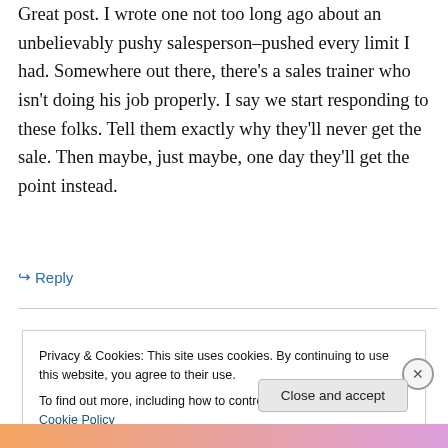Great post. I wrote one not too long ago about an unbelievably pushy salesperson–pushed every limit I had. Somewhere out there, there's a sales trainer who isn't doing his job properly. I say we start responding to these folks. Tell them exactly why they'll never get the sale. Then maybe, just maybe, one day they'll get the point instead.
↳ Reply
Privacy & Cookies: This site uses cookies. By continuing to use this website, you agree to their use.
To find out more, including how to control cookies, see here: Cookie Policy
Close and accept